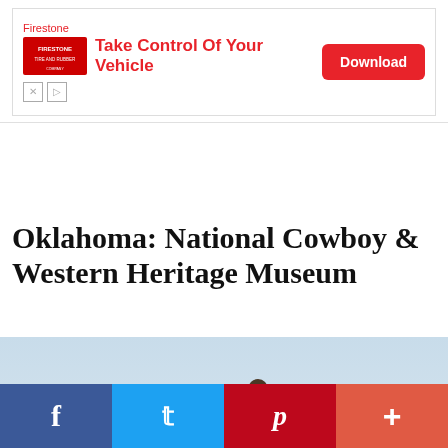[Figure (screenshot): Firestone advertisement banner: 'Take Control Of Your Vehicle' with red Download button]
Oklahoma: National Cowboy & Western Heritage Museum
[Figure (photo): Bronze equestrian statue of a cowboy on a rearing horse against a light blue sky background]
[Figure (infographic): Social share bar with Facebook (blue), Twitter (light blue), Pinterest (red), and More (orange-red) buttons]